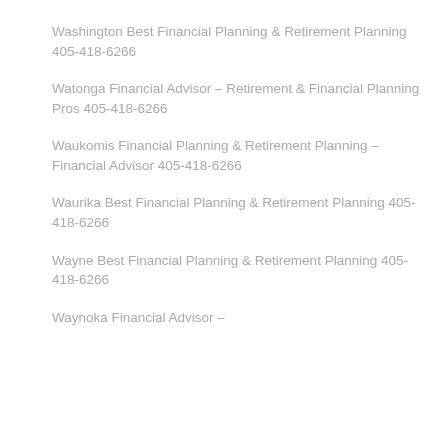Washington Best Financial Planning & Retirement Planning 405-418-6266
Watonga Financial Advisor – Retirement & Financial Planning Pros 405-418-6266
Waukomis Financial Planning & Retirement Planning – Financial Advisor 405-418-6266
Waurika Best Financial Planning & Retirement Planning 405-418-6266
Wayne Best Financial Planning & Retirement Planning 405-418-6266
Waynoka Financial Advisor –